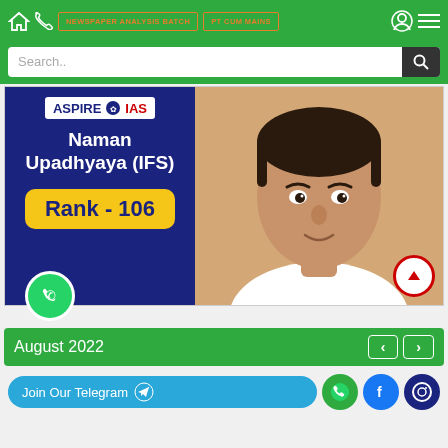NEWSPAPER ANALYSIS BATCH | PT CUM MAINS
[Figure (screenshot): Aspire IAS coaching app screenshot showing Naman Upadhyaya IFS Rank 106 with photo and navigation elements]
August 2022
Join Our Telegram